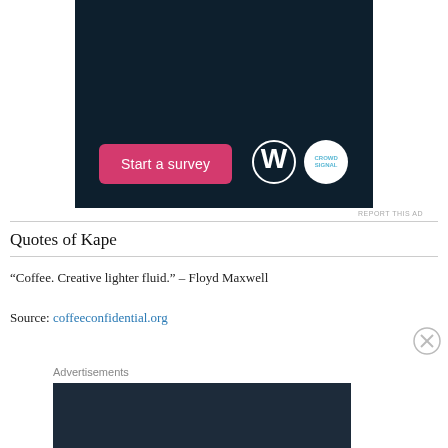[Figure (screenshot): Dark navy blue advertisement banner with a pink 'Start a survey' button on the left and WordPress logo and CrowdSignal logo on the right]
REPORT THIS AD
Quotes of Kape
“Coffee. Creative lighter fluid.” – Floyd Maxwell
Source: coffeeconfidential.org
Advertisements
[Figure (screenshot): WordPress hosting advertisement banner showing 'WORDPRESS HOSTING THAT MEANS BUSINESS.' with a P logo and an OPEN sign photo]